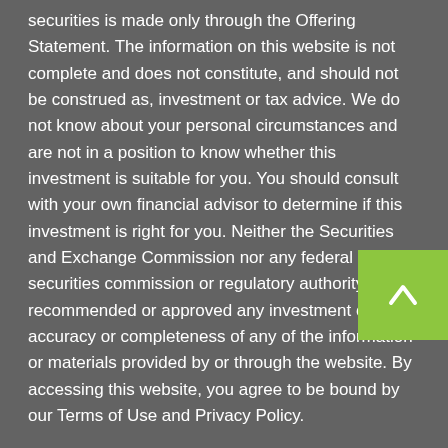securities is made only through the Offering Statement. The information on this website is not complete and does not constitute, and should not be construed as, investment or tax advice. We do not know about your personal circumstances and are not in a position to know whether this investment is suitable for you. You should consult with your own financial advisor to determine if this investment is right for you. Neither the Securities and Exchange Commission nor any federal or state securities commission or regulatory authority has recommended or approved any investment or the accuracy or completeness of any of the information or materials provided by or through the website. By accessing this website, you agree to be bound by our Terms of Use and Privacy Policy.